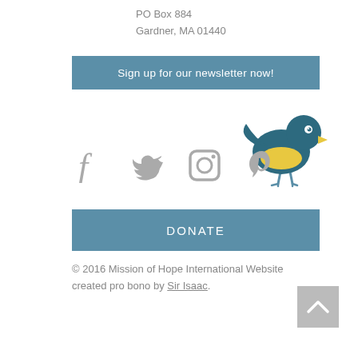PO Box 884
Gardner, MA 01440
Sign up for our newsletter now!
[Figure (illustration): A cartoon bird illustration with teal/dark blue body, yellow beak/chest, and two thin legs. The bird is facing left.]
[Figure (infographic): Social media icons: Facebook (f), Twitter (bird), Instagram (camera), Pinterest (p) — all in grey.]
DONATE
© 2016 Mission of Hope International Website created pro bono by Sir Isaac.
[Figure (infographic): Grey square button with an upward-pointing chevron/arrow (back to top button).]